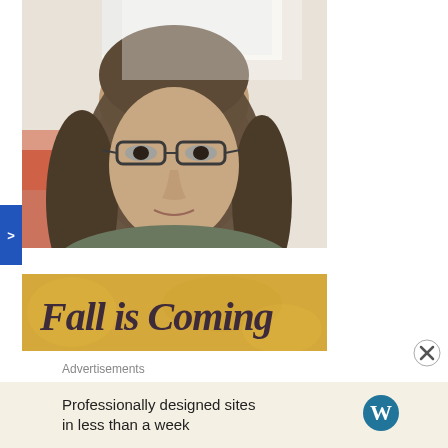[Figure (photo): Portrait photo of a middle-aged woman with long dark hair and glasses, facing the camera, bright background]
[Figure (illustration): Golden/yellow textured banner image with cursive script text reading 'Fall is Coming' in dark purple-brown color]
Advertisements
Professionally designed sites in less than a week